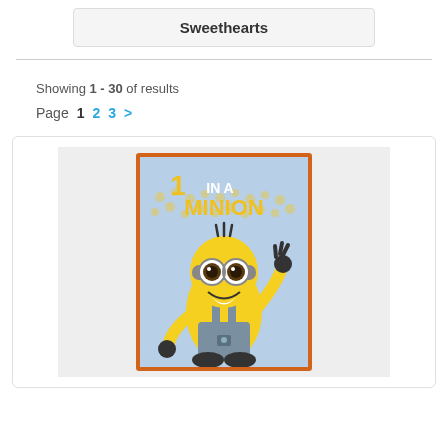Sweethearts
Showing 1 - 30 of results
Page  1  2  3  >
[Figure (illustration): Minion character card with '1 in a Minion' text, orange border, blue background, cartoon minion character waving]